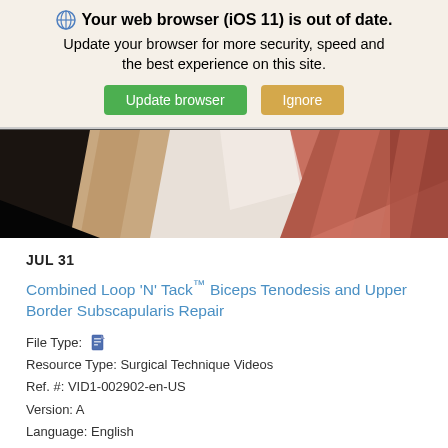Your web browser (iOS 11) is out of date. Update your browser for more security, speed and the best experience on this site. Update browser | Ignore
[Figure (photo): Anatomical illustration of shoulder/biceps tendon area showing muscle and tendon structures in pink, white, and red tones against a dark background]
JUL 31
Combined Loop 'N' Tack™ Biceps Tenodesis and Upper Border Subscapularis Repair
File Type: [video icon]
Resource Type: Surgical Technique Videos
Ref. #: VID1-002902-en-US
Version: A
Language: English
Revision Date: 06/08/2022
Alan M. Hirahara, MD (Sacramento, CA), combines a Loop 'N' Tack™ biceps tenodesis...